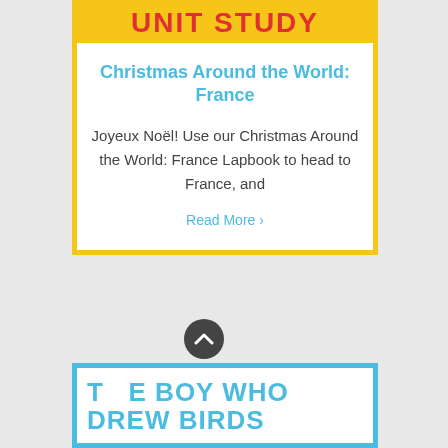Christmas Around the World: France
Joyeux Noël! Use our Christmas Around the World: France Lapbook to head to France, and
Read More ›
[Figure (other): Scroll-to-top button, dark circle with upward chevron arrow]
THE BOY WHO DREW BIRDS